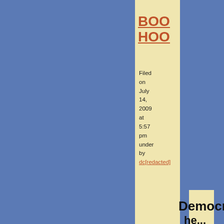BOO HOO
Filed on July 14, 2009 at 5:57 pm under by dc[redacted]
The Tax Foundation just sent out this breathless announcement:
Democrats'